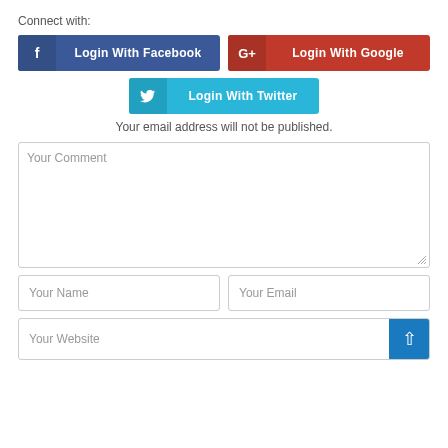Connect with:
[Figure (screenshot): Login with Facebook button (dark blue with Facebook icon)]
[Figure (screenshot): Login with Google button (red with Google+ icon)]
[Figure (screenshot): Login with Twitter button (light blue with Twitter bird icon)]
Your email address will not be published.
[Figure (screenshot): Comment textarea with placeholder text 'Your Comment']
[Figure (screenshot): Your Name input field]
[Figure (screenshot): Your Email input field]
[Figure (screenshot): Your Website input field with blue up-arrow button]